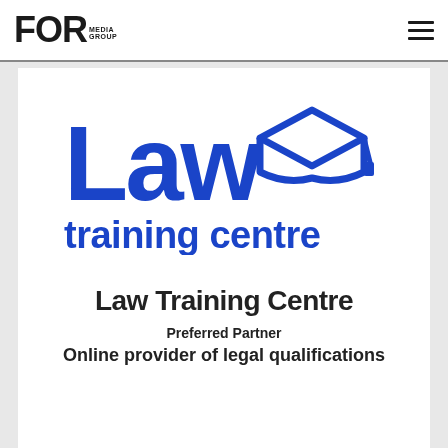FOR MEDIA GROUP | hamburger menu
[Figure (logo): Law Training Centre logo: blue bold 'Law' text with a blue graduation cap icon, and 'training centre' in blue below]
Law Training Centre
Preferred Partner
Online provider of legal qualifications